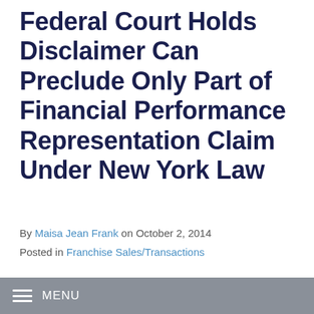Federal Court Holds Disclaimer Can Preclude Only Part of Financial Performance Representation Claim Under New York Law
By Maisa Jean Frank on October 2, 2014
Posted in Franchise Sales/Transactions
A federal court in the Southern District of New York recently granted in part and denied in part a franchisor's motion to dismiss claims
MENU